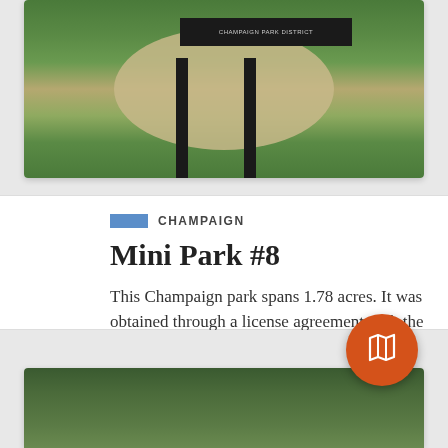[Figure (photo): Outdoor park photo showing a sand pit/horseshoe area between two dark posts with a sign reading 'Champaign Park District', green grass in background]
CHAMPAIGN
Mini Park #8
This Champaign park spans 1.78 acres. It was obtained through a license agreement with the City of Champaign.
By ExploreCU
VIEW STORY | SHOW ON MAP
[Figure (photo): Partial view of second park photo showing trees and greenery]